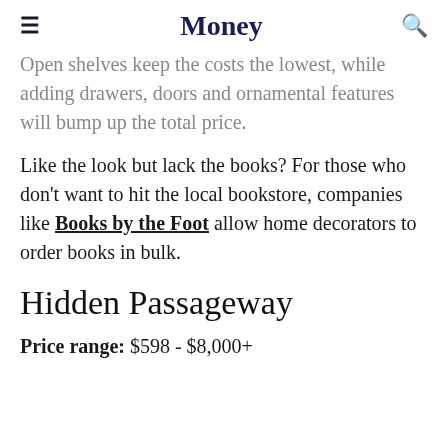Money
Open shelves keep the costs the lowest, while adding drawers, doors and ornamental features will bump up the total price.
Like the look but lack the books? For those who don't want to hit the local bookstore, companies like Books by the Foot allow home decorators to order books in bulk.
Hidden Passageway
Price range: $598 - $8,000+